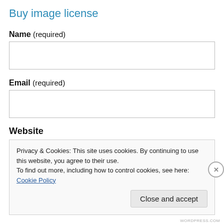Buy image license
Name (required)
Email (required)
Website
Privacy & Cookies: This site uses cookies. By continuing to use this website, you agree to their use.
To find out more, including how to control cookies, see here: Cookie Policy
Close and accept
WORDPRESS.COM